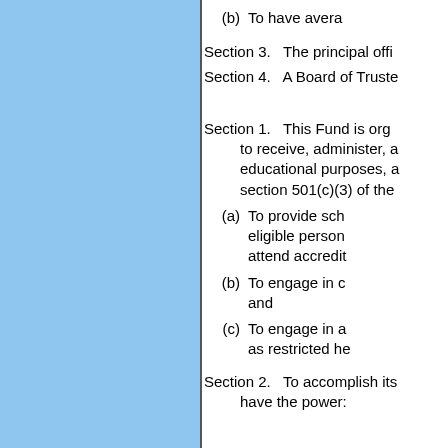(b)   To have avera
Section 3.   The principal offi
Section 4.   A Board of Truste
Section 1.   This Fund is org to receive, administer, a educational purposes, a section 501(c)(3) of the
(a)   To provide sch eligible person attend accredit
(b)   To engage in c and
(c)   To engage in a as restricted he
Section 2.   To accomplish its have the power: